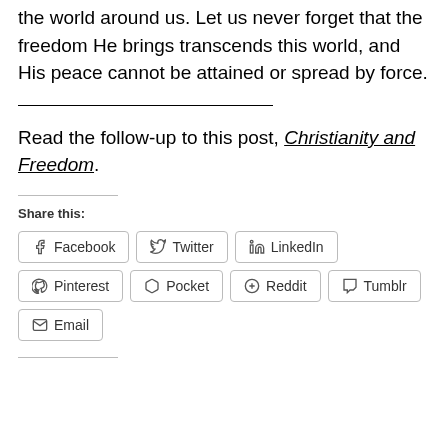the world around us. Let us never forget that the freedom He brings transcends this world, and His peace cannot be attained or spread by force.
Read the follow-up to this post, Christianity and Freedom.
Share this:
Facebook  Twitter  LinkedIn  Pinterest  Pocket  Reddit  Tumblr  Email